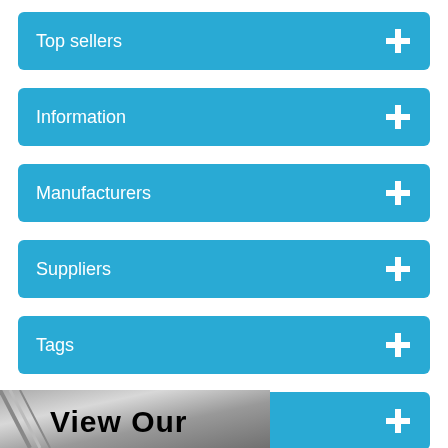Top sellers
Information
Manufacturers
Suppliers
Tags
Viewed products
[Figure (screenshot): Partial banner with text 'View Our' in bold black on grey metallic background]